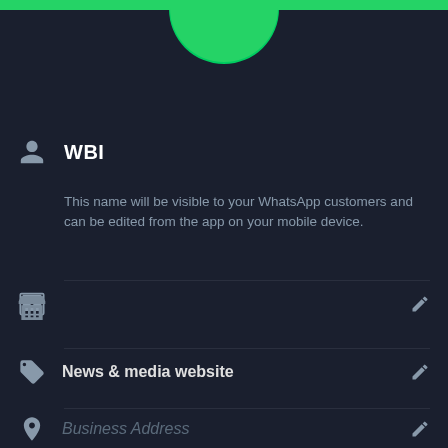[Figure (screenshot): WhatsApp Business profile settings screen (dark mode). Shows profile name 'WBI', description text about name visibility, store/business type icon, category 'News & media website', Business Address field, and Monday hours 12:00 - 22:00.]
WBI
This name will be visible to your WhatsApp customers and can be edited from the app on your mobile device.
News & media website
Business Address
Monday   12:00 - 22:00